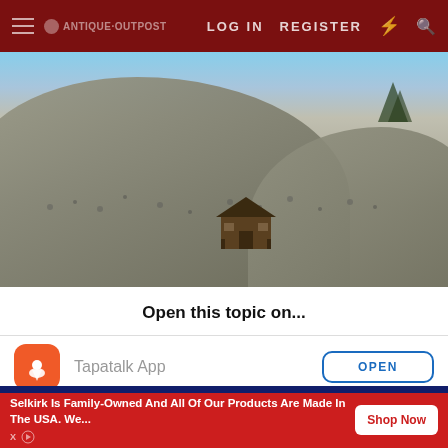LOG IN   REGISTER
[Figure (photo): Landscape photo showing a barren hillside with sparse scrubby vegetation and a small weathered wooden cabin or shack in the foreground-center, against a pale blue sky.]
Open this topic on...
Tapatalk App
Safari
Selkirk Is Family-Owned And All Of Our Products Are Made In The USA. We...
Shop Now